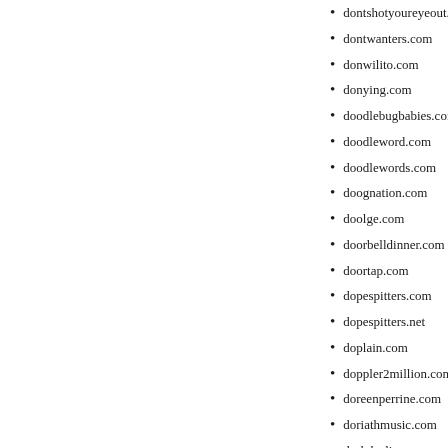dontshotyoureyeout.com
dontwanters.com
donwilito.com
donying.com
doodlebugbabies.com
doodleword.com
doodlewords.com
doognation.com
doolge.com
doorbelldinner.com
doortap.com
dopespitters.com
dopespitters.net
doplain.com
doppler2million.com
doreenperrine.com
doriathmusic.com
dorkdealio.com
dorksc.com
dormexpress.com
dormexpress.net
dorongflower.com
dorsettearoom.com
dorsinc.com
dortor-mail.com
doshirok.com
dospublicidad.com
dossals.com